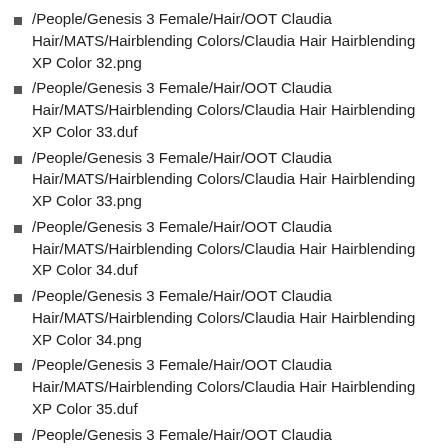/People/Genesis 3 Female/Hair/OOT Claudia Hair/MATS/Hairblending Colors/Claudia Hair Hairblending XP Color 32.png
/People/Genesis 3 Female/Hair/OOT Claudia Hair/MATS/Hairblending Colors/Claudia Hair Hairblending XP Color 33.duf
/People/Genesis 3 Female/Hair/OOT Claudia Hair/MATS/Hairblending Colors/Claudia Hair Hairblending XP Color 33.png
/People/Genesis 3 Female/Hair/OOT Claudia Hair/MATS/Hairblending Colors/Claudia Hair Hairblending XP Color 34.duf
/People/Genesis 3 Female/Hair/OOT Claudia Hair/MATS/Hairblending Colors/Claudia Hair Hairblending XP Color 34.png
/People/Genesis 3 Female/Hair/OOT Claudia Hair/MATS/Hairblending Colors/Claudia Hair Hairblending XP Color 35.duf
/People/Genesis 3 Female/Hair/OOT Claudia Hair/MATS/Hairblending Colors/Claudia Hair